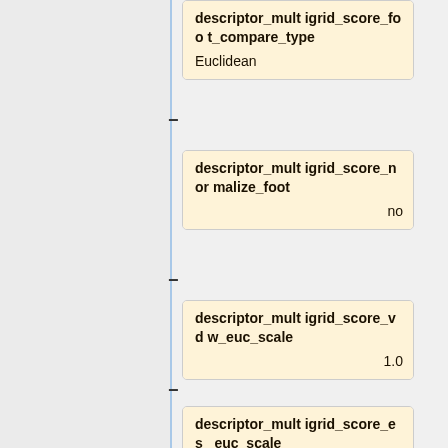[Figure (flowchart): Vertical flowchart/tree showing configuration parameter nodes connected by a vertical blue line with minus connectors. Four cards visible: descriptor_multigrid_score_foot_compare_type (Euclidean), descriptor_multigrid_score_normalize_foot (no), descriptor_multigrid_score_vdw_euc_scale (1.0), descriptor_multigrid_score_es_euc_scale (1.0).]